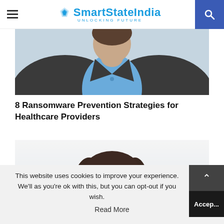SmartStateIndia UNLOCKING FUTURE
[Figure (photo): Partial photo of a person in a dark suit with blue shirt, cropped at torso level]
8 Ransomware Prevention Strategies for Healthcare Providers
[Figure (photo): Photo of a woman with dark hair, smiling, wearing dark top, shown from shoulders up]
This website uses cookies to improve your experience. We'll as you're ok with this, but you can opt-out if you wish.
Accept
Read More